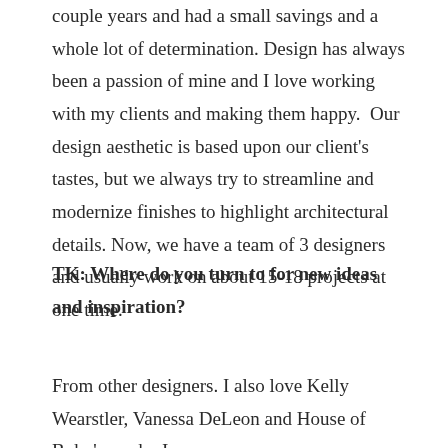couple years and had a small savings and a whole lot of determination. Design has always been a passion of mine and I love working with my clients and making them happy.  Our design aesthetic is based upon our client's tastes, but we always try to streamline and modernize finishes to highlight architectural details. Now, we have a team of 3 designers and usually work on about 15-18 projects at one time.
TK: Where do you turn to for new ideas and inspiration?
From other designers. I also love Kelly Wearstler, Vanessa DeLeon and House of Bohn's work.  I